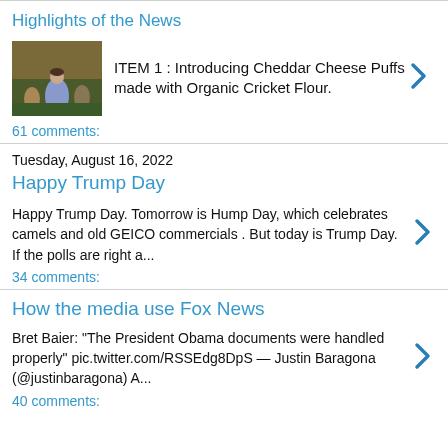Highlights of the News
ITEM 1 : Introducing Cheddar Cheese Puffs made with Organic Cricket Flour.
61 comments:
Tuesday, August 16, 2022
Happy Trump Day
Happy Trump Day. Tomorrow is Hump Day, which celebrates camels and old GEICO commercials . But today is Trump Day. If the polls are right a...
34 comments:
How the media use Fox News
Bret Baier: "The President Obama documents were handled properly" pic.twitter.com/RSSEdg8DpS — Justin Baragona (@justinbaragona) A...
40 comments: